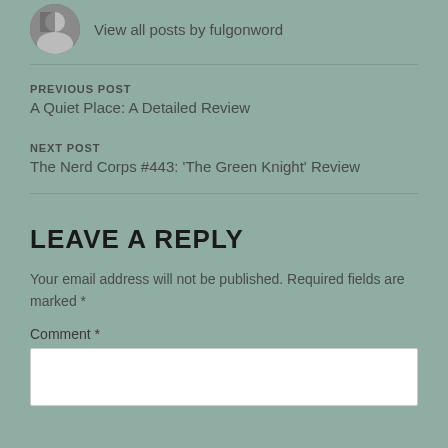View all posts by fulgonword
PREVIOUS POST
A Quiet Place: A Detailed Review
NEXT POST
The Nerd Corps #443: 'The Green Knight' Review
LEAVE A REPLY
Your email address will not be published. Required fields are marked *
Comment *